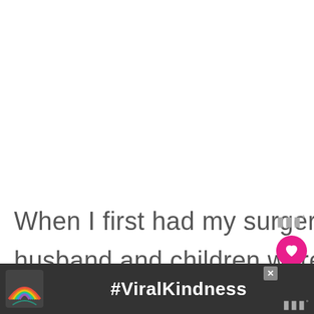When I first had my surgery, my daughter and husband and children were here, my son-in law
[Figure (infographic): UI overlay with three-dot menu icon (grey), pink heart/like button (circle), and white share button (circle with share icon)]
[Figure (infographic): WHAT'S NEXT card showing San Francisco Bay OneCup... with coffee cup thumbnail image]
[Figure (infographic): Advertisement bar with rainbow illustration and #ViralKindness text on dark background, with close X button and Mute logo]